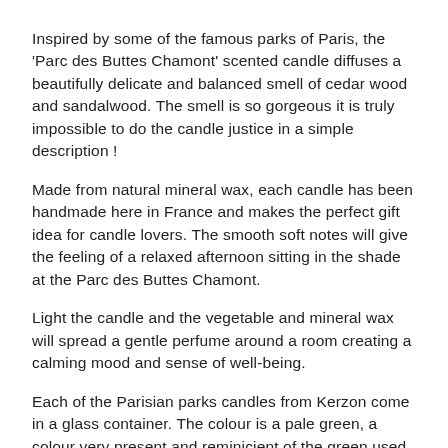Inspired by some of the famous parks of Paris, the 'Parc des Buttes Chamont' scented candle diffuses a beautifully delicate and balanced smell of cedar wood and sandalwood.  The smell is so gorgeous it is truly impossible to do the candle justice in a simple description !
Made from natural mineral wax, each candle has been handmade here in France and makes the perfect gift idea for candle lovers.  The smooth soft notes will give the feeling of a relaxed afternoon sitting in the shade at the Parc des Buttes Chamont.
Light the candle and the vegetable and mineral wax will spread a gentle perfume around a room creating a calming mood and sense of well-being.
Each of the Parisian parks candles from Kerzon come in a glass container.  The colour is a pale green, a colour very present and reminicient of the green used on the seats and furniture in Parisian Parks.  The name ' Parc des Buttes Chaumont has been written on the front of the candle in white and just below are the